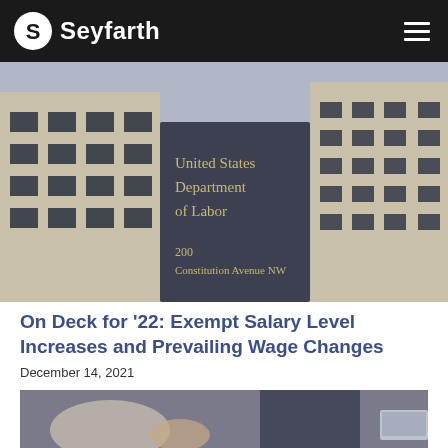Seyfarth
[Figure (photo): United States Department of Labor building sign reading '200 Constitution Avenue NW' with building facade in background]
On Deck for '22: Exempt Salary Level Increases and Prevailing Wage Changes
December 14, 2021
[Figure (photo): Two people in business attire shaking hands or in discussion, partially visible, with a laptop on the right side]